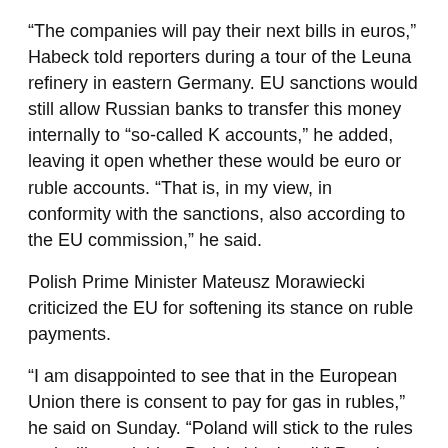“The companies will pay their next bills in euros,” Habeck told reporters during a tour of the Leuna refinery in eastern Germany. EU sanctions would still allow Russian banks to transfer this money internally to “so-called K accounts,” he added, leaving it open whether these would be euro or ruble accounts. “That is, in my view, in conformity with the sanctions, also according to the EU commission,” he said.
Polish Prime Minister Mateusz Morawiecki criticized the EU for softening its stance on ruble payments.
“I am disappointed to see that in the European Union there is consent to pay for gas in rubles,” he said on Sunday. “Poland will stick to the rules and will not yield to Putin’s blackmail.” Russia halted gas flows to neighboring Poland in late April.
In full, the EU guidance says:
“Council Regulation (EU) 833/2014 and Council Regulation (EU) 269/2014 do not prevent economic operators from opening a bank account in a designated bank for payments due under contracts for the supply of natural gas in a gaseous state, in the currency specified in these contracts for the